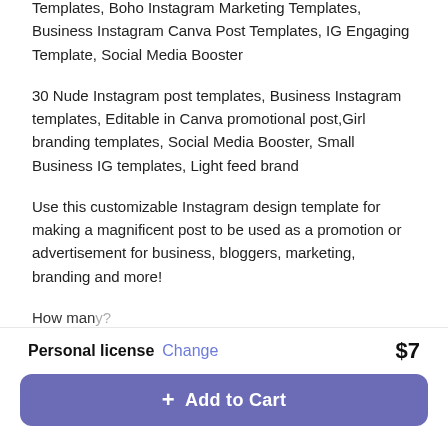Templates, Boho Instagram Marketing Templates, Business Instagram Canva Post Templates, IG Engaging Template, Social Media Booster
30 Nude Instagram post templates, Business Instagram templates, Editable in Canva promotional post, Girl branding templates, Social Media Booster, Small Business IG templates, Light feed brand
Use this customizable Instagram design template for making a magnificent post to be used as a promotion or advertisement for business, bloggers, marketing, branding and more!
How many?
Personal license  Change  $7
+ Add to Cart